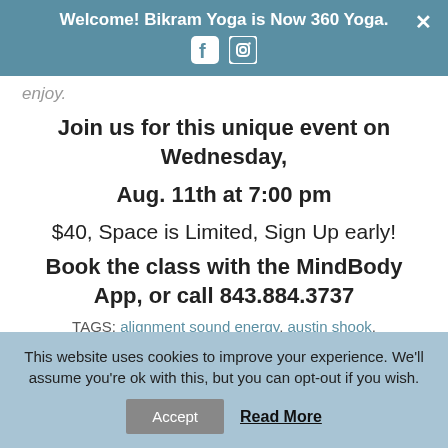Welcome! Bikram Yoga is Now 360 Yoga.
enjoy.
Join us for this unique event on Wednesday,
Aug. 11th at 7:00 pm
$40, Space is Limited, Sign Up early!
Book the class with the MindBody App, or call 843.884.3737
TAGS: alignment sound energy, austin shook,
This website uses cookies to improve your experience. We'll assume you're ok with this, but you can opt-out if you wish.